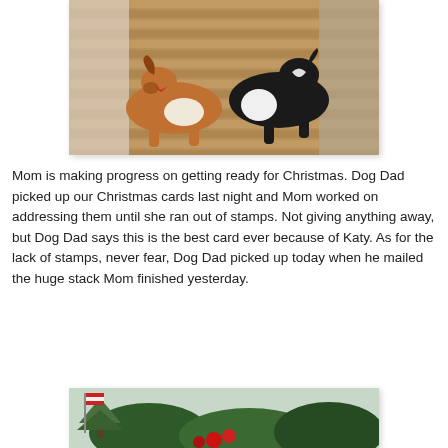[Figure (photo): Two Sheltie dogs lying on a wooden deck. The left dog is sable/brown with a red bow tie collar. The right dog is black and white. Wood plank flooring visible.]
Mom is making progress on getting ready for Christmas. Dog Dad picked up our Christmas cards last night and Mom worked on addressing them until she ran out of stamps. Not giving anything away, but Dog Dad says this is the best card ever because of Katy. As for the lack of stamps, never fear, Dog Dad picked up today when he mailed the huge stack Mom finished yesterday.
[Figure (photo): Outdoor garden scene with evergreen shrubs, a tree, and red poinsettia flowers. A flag is visible in the background.]